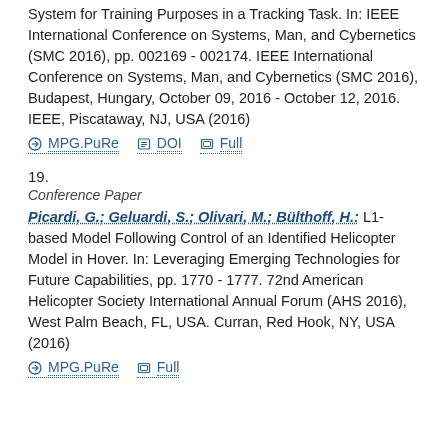System for Training Purposes in a Tracking Task. In: IEEE International Conference on Systems, Man, and Cybernetics (SMC 2016), pp. 002169 - 002174. IEEE International Conference on Systems, Man, and Cybernetics (SMC 2016), Budapest, Hungary, October 09, 2016 - October 12, 2016. IEEE, Piscataway, NJ, USA (2016)
MPG.PuRe  DOI  Full
19.
Conference Paper
Picardi, G.; Geluardi, S.; Olivari, M.; Bülthoff, H.: L1-based Model Following Control of an Identified Helicopter Model in Hover. In: Leveraging Emerging Technologies for Future Capabilities, pp. 1770 - 1777. 72nd American Helicopter Society International Annual Forum (AHS 2016), West Palm Beach, FL, USA. Curran, Red Hook, NY, USA (2016)
MPG.PuRe  Full